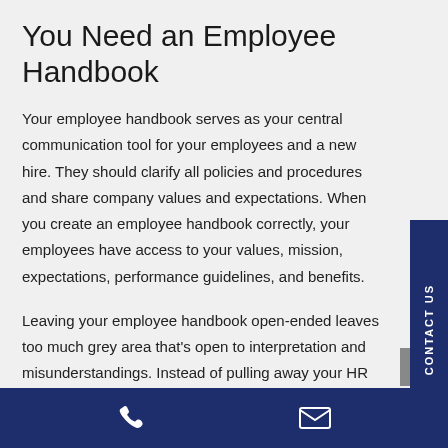You Need an Employee Handbook
Your employee handbook serves as your central communication tool for your employees and a new hire. They should clarify all policies and procedures and share company values and expectations. When you create an employee handbook correctly, your employees have access to your values, mission, expectations, performance guidelines, and benefits.
Leaving your employee handbook open-ended leaves too much grey area that's open to interpretation and misunderstandings. Instead of pulling away your HR team to strategize and research the handbook, The Works Consulting audits and reviews your existing handbook or
CONTACT US [phone icon] [email icon]